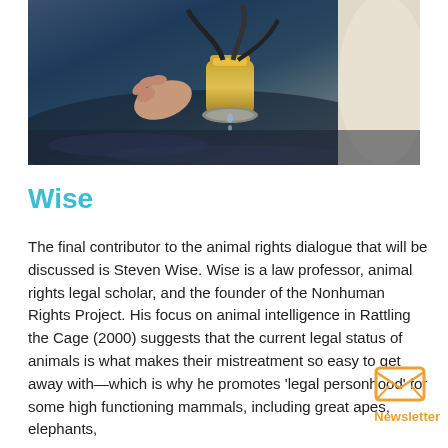[Figure (photo): Close-up photo of a milking machine attached to a cow's udder, with a hand visible and metal milking equipment on a wet surface.]
Wise
The final contributor to the animal rights dialogue that will be discussed is Steven Wise. Wise is a law professor, animal rights legal scholar, and the founder of the Nonhuman Rights Project. His focus on animal intelligence in Rattling the Cage (2000) suggests that the current legal status of animals is what makes their mistreatment so easy to get away with—which is why he promotes 'legal personhood' for some high functioning mammals, including great apes, elephants,